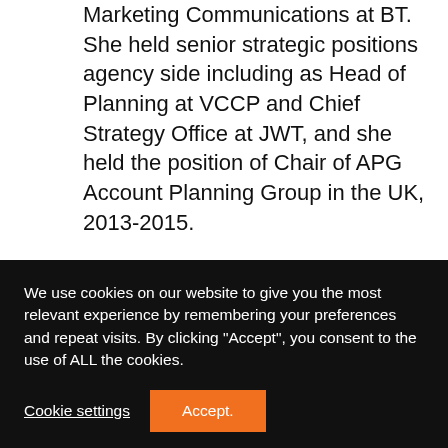Marketing Communications at BT. She held senior strategic positions agency side including as Head of Planning at VCCP and Chief Strategy Office at JWT, and she held the position of Chair of APG Account Planning Group in the UK, 2013-2015.

She was an Adage ‘Woman to Watch’ 2017, awarded the Women
We use cookies on our website to give you the most relevant experience by remembering your preferences and repeat visits. By clicking “Accept”, you consent to the use of ALL the cookies.
Cookie settings
Accept.